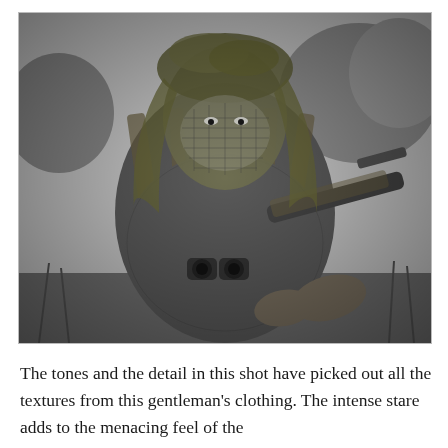[Figure (photo): Black and white photograph of a person wearing full camouflage ghillie-style netting over their head, face, and body. Their face is covered with mesh netting. They are holding a scoped rifle wrapped in camouflage netting, and have binoculars around their neck. The background shows vegetation and tall grass, suggesting an outdoor/field setting.]
The tones and the detail in this shot have picked out all the textures from this gentleman's clothing. The intense stare adds to the menacing feel of the